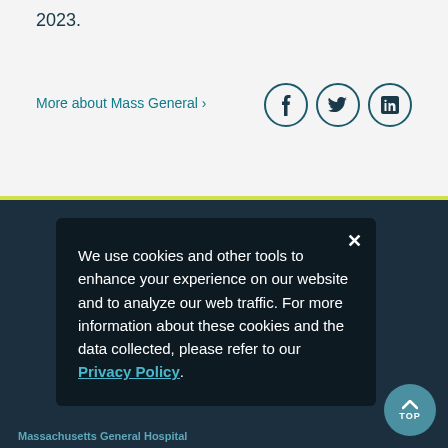2023.
More about Mass General ›
Massachusetts General Hospital
55 Fruit Street
Boston, MA 02114
FIND A LOCATION ›
CONTACT US
We use cookies and other tools to enhance your experience on our website and to analyze our web traffic. For more information about these cookies and the data collected, please refer to our Privacy Policy.